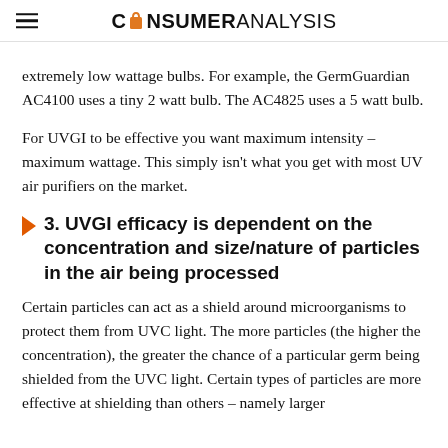CONSUMER ANALYSIS
extremely low wattage bulbs. For example, the GermGuardian AC4100 uses a tiny 2 watt bulb. The AC4825 uses a 5 watt bulb.
For UVGI to be effective you want maximum intensity – maximum wattage. This simply isn't what you get with most UV air purifiers on the market.
3. UVGI efficacy is dependent on the concentration and size/nature of particles in the air being processed
Certain particles can act as a shield around microorganisms to protect them from UVC light. The more particles (the higher the concentration), the greater the chance of a particular germ being shielded from the UVC light. Certain types of particles are more effective at shielding than others – namely larger particles